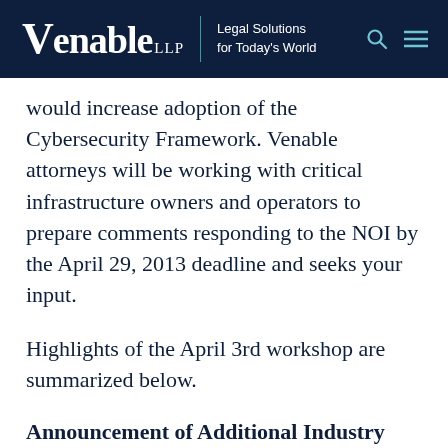VENABLE LLP | Legal Solutions for Today's World
would increase adoption of the Cybersecurity Framework. Venable attorneys will be working with critical infrastructure owners and operators to prepare comments responding to the NOI by the April 29, 2013 deadline and seeks your input.
Highlights of the April 3rd workshop are summarized below.
Announcement of Additional Industry Workshops